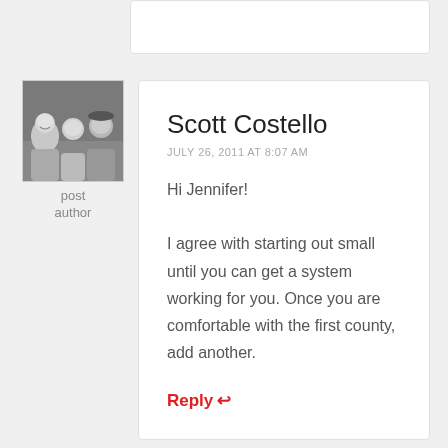[Figure (photo): Black and white photo of three people (a woman, a child, and a teenager/young person) used as comment author avatar]
post author
Scott Costello
JULY 26, 2011 AT 8:07 AM
Hi Jennifer!

I agree with starting out small until you can get a system working for you. Once you are comfortable with the first county, add another.
Reply ↩